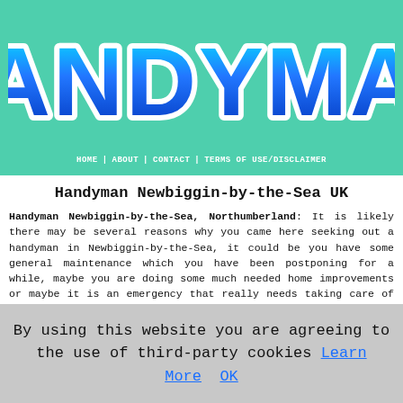[Figure (logo): HANDYMAN logo in large bold rounded letters with cyan-to-blue gradient fill and white stroke, on teal/mint background]
HOME | ABOUT | CONTACT | TERMS OF USE/DISCLAIMER
Handyman Newbiggin-by-the-Sea UK
Handyman Newbiggin-by-the-Sea, Northumberland: It is likely there may be several reasons why you came here seeking out a handyman in Newbiggin-by-the-Sea, it could be you have some general maintenance which you have been postponing for a while, maybe you are doing some much needed home improvements or maybe it is an emergency that really needs taking care of speedily. For whichever reason you arrived here, you will doubtless be seeking out a specialist you can feel confident in and trust. This is not as straightforward a task as you may envisage because there are many rogue traders and cowboy odd job men around who could do shoddy
By using this website you are agreeing to the use of third-party cookies Learn More  OK